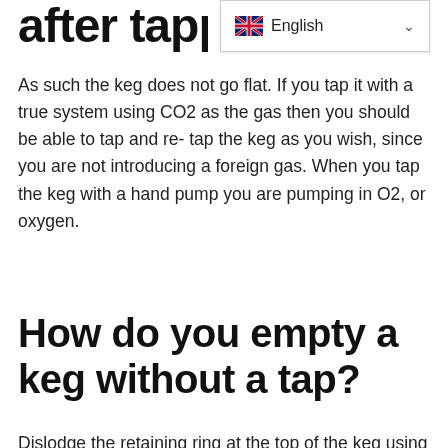after tapping
As such the keg does not go flat. If you tap it with a true system using CO2 as the gas then you should be able to tap and re- tap the keg as you wish, since you are not introducing a foreign gas. When you tap the keg with a hand pump you are pumping in O2, or oxygen.
How do you empty a keg without a tap?
Dislodge the retaining ring at the top of the keg using the flat screwdriver. Use the screwdriver to tap around till you find the end of the retaining ring. Pry on the ring with the screwdriver till it gives way and slowly strip it out. Apply pressure